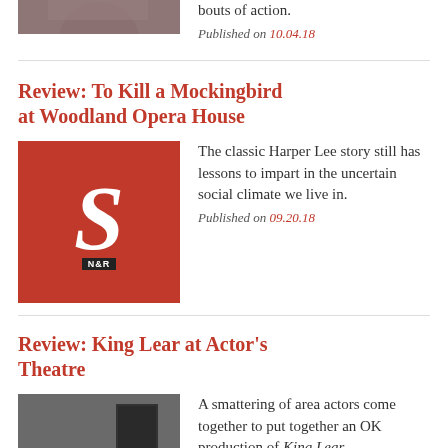bouts of action.
Published on 10.04.18
Review: To Kill a Mockingbird at Woodland Opera House
[Figure (logo): Red square logo with large italic S and N&R badge below]
The classic Harper Lee story still has lessons to impart in the uncertain social climate we live in.
Published on 09.20.18
Review: King Lear at Actor's Theatre
[Figure (photo): Black and white photo of actors on stage with a red bench, one figure lying on the bench]
A smattering of area actors come together to put together an OK production of <i>King Lear.</i>
Published on 09.20.18